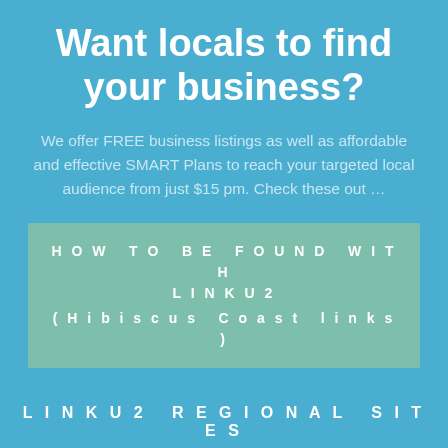Want locals to find your business?
We offer FREE business listings as well as affordable and effective SMART Plans to reach your targeted local audience from just $15 pm. Check these out …
HOW TO BE FOUND WITH LINKU2 (Hibiscus Coast links)
LINKU2 REGIONAL SITES
HIBISCUS COAST